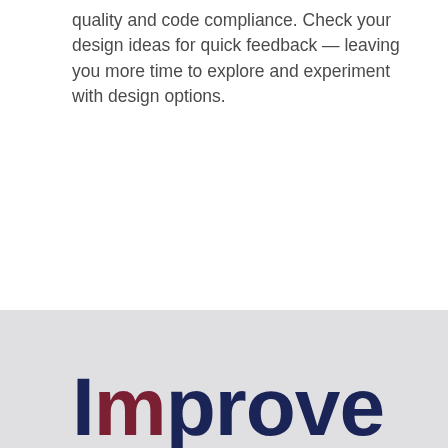quality and code compliance. Check your design ideas for quick feedback — leaving you more time to explore and experiment with design options.
Improve